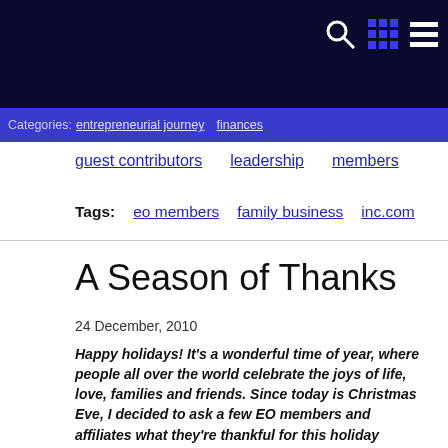Categories: entrepreneurial journey   finances   guest contributors   leadership   members
Tags:   eo members   family business   inc.com
A Season of Thanks
24 December, 2010
Happy holidays! It's a wonderful time of year, where people all over the world celebrate the joys of life, love, families and friends. Since today is Christmas Eve, I decided to ask a few EO members and affiliates what they're thankful for this holiday season. Check out their great